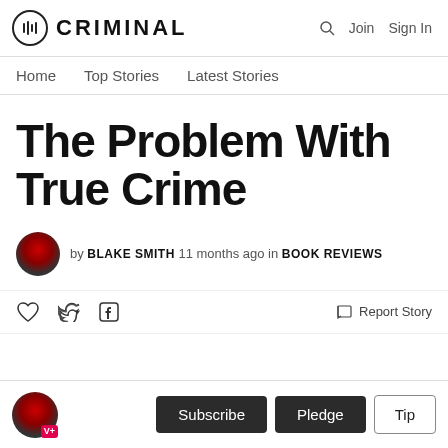CRIMINAL — Join Sign In
Home  Top Stories  Latest Stories
The Problem With True Crime
by BLAKE SMITH 11 months ago in BOOK REVIEWS
♡  Twitter  Facebook  Report Story
Subscribe  Pledge  Tip